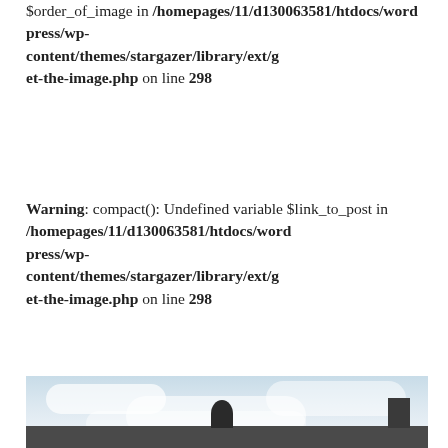$order_of_image in /homepages/11/d130063581/htdocs/wordpress/wp-content/themes/stargazer/library/ext/get-the-image.php on line 298
Warning: compact(): Undefined variable $link_to_post in /homepages/11/d130063581/htdocs/wordpress/wp-content/themes/stargazer/library/ext/get-the-image.php on line 298
[Figure (photo): Outdoor photograph showing a cloudy sky with rooftop silhouette and chimney at bottom right, and a dark human figure silhouette near center bottom.]